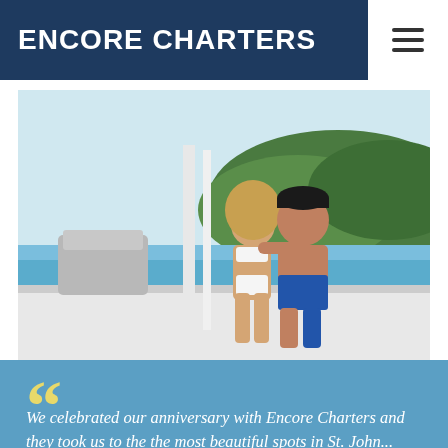ENCORE CHARTERS
[Figure (photo): A couple sitting on the bow of a white boat, woman in white bikini with long blonde hair and man in blue shorts and black cap, with turquoise water and a green rocky island in the background.]
“We celebrated our anniversary with Encore Charters and they took us to the the most beautiful spots in St. John...